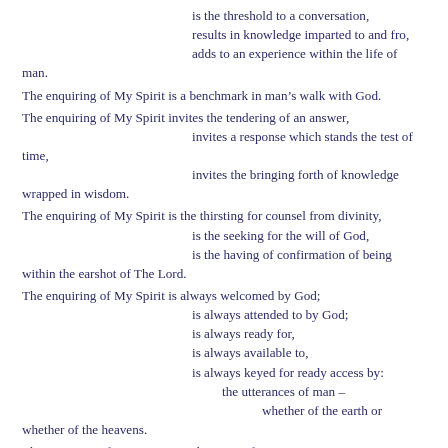is the threshold to a conversation,
results in knowledge imparted to and fro,
adds to an experience within the life of man.
The enquiring of My Spirit is a benchmark in man’s walk with God.
The enquiring of My Spirit invites the tendering of an answer,
invites a response which stands the test of time,
invites the bringing forth of knowledge wrapped in wisdom.
The enquiring of My Spirit is the thirsting for counsel from divinity,
is the seeking for the will of God,
is the having of confirmation of being within the earshot of The Lord.
The enquiring of My Spirit is always welcomed by God;
is always attended to by God;
is always ready for,
is always available to,
is always keyed for ready access by:
the utterances of man –
whether of the earth or whether of the heavens.
The enquiring of My Spirit is at the onset of two-way communication with The I AM of creation,
with The I AM of the heavens,